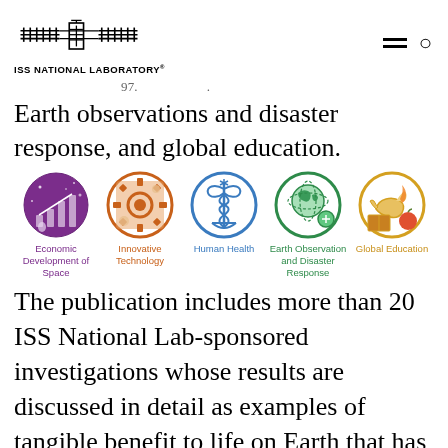ISS NATIONAL LABORATORY
Earth observations and disaster response, and global education.
[Figure (infographic): Five circular icons representing ISS National Lab focus areas: Economic Development of Space (purple), Innovative Technology (orange), Human Health (blue), Earth Observation and Disaster Response (green), Global Education (gold/yellow)]
The publication includes more than 20 ISS National Lab-sponsored investigations whose results are discussed in detail as examples of tangible benefit to life on Earth that has resulted